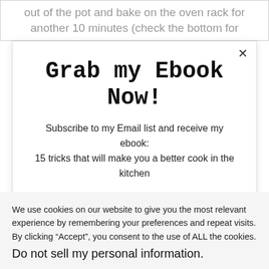out of the pot and bake on the oven rack for another 10 minutes (check the bottom for
Grab my Ebook Now!
Subscribe to my Email list and receive my ebook: 15 tricks that will make you a better cook in the kitchen
We use cookies on our website to give you the most relevant experience by remembering your preferences and repeat visits. By clicking “Accept”, you consent to the use of ALL the cookies.
Do not sell my personal information.
Cookie Settings
Accept